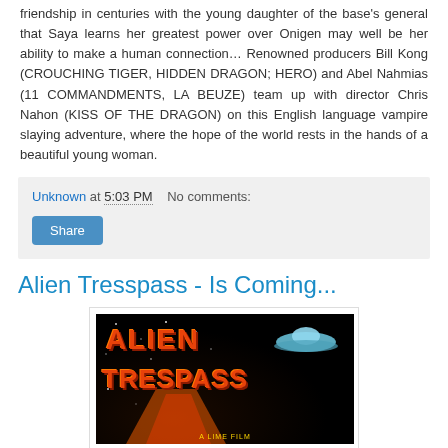friendship in centuries with the young daughter of the base's general that Saya learns her greatest power over Onigen may well be her ability to make a human connection… Renowned producers Bill Kong (CROUCHING TIGER, HIDDEN DRAGON; HERO) and Abel Nahmias (11 COMMANDMENTS, LA BEUZE) team up with director Chris Nahon (KISS OF THE DRAGON) on this English language vampire slaying adventure, where the hope of the world rests in the hands of a beautiful young woman.
Unknown at 5:03 PM   No comments:
Share
Alien Tresspass - Is Coming...
[Figure (photo): Movie poster for Alien Trespass showing bold red-orange title text on black background with a UFO and energy beam]